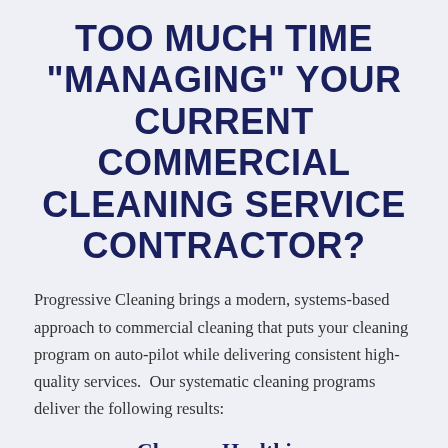TOO MUCH TIME "MANAGING" YOUR CURRENT COMMERCIAL CLEANING SERVICE CONTRACTOR?
Progressive Cleaning brings a modern, systems-based approach to commercial cleaning that puts your cleaning program on auto-pilot while delivering consistent high-quality services.  Our systematic cleaning programs deliver the following results:
Cleaner  Healthier